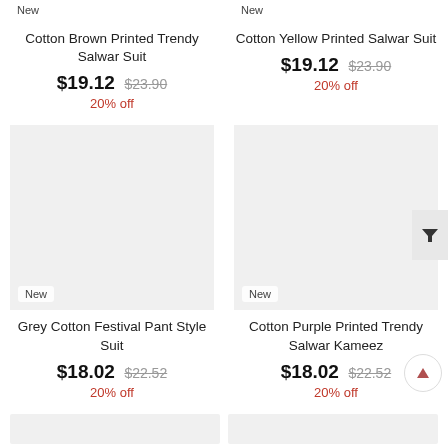New
New
Cotton Brown Printed Trendy Salwar Suit
Cotton Yellow Printed Salwar Suit
$19.12  $23.90
$19.12  $23.90
20% off
20% off
[Figure (photo): Product image placeholder grey box for Grey Cotton Festival Pant Style Suit]
[Figure (photo): Product image placeholder grey box for Cotton Purple Printed Trendy Salwar Kameez]
New
New
Grey Cotton Festival Pant Style Suit
Cotton Purple Printed Trendy Salwar Kameez
$18.02  $22.52
$18.02  $22.52
20% off
20% off